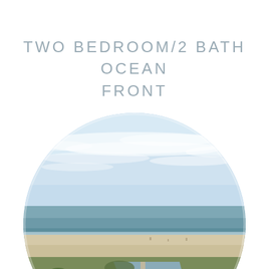TWO BEDROOM/2 BATH OCEAN FRONT
[Figure (photo): Aerial view of an ocean front beach scene with a pier/inlet, sandy beach, ocean waves, clear blue sky with clouds, and coastal vegetation and structures in the foreground. The image is cropped in a circle shape.]